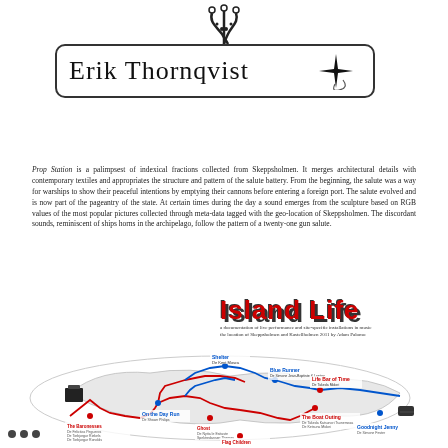[Figure (illustration): Circuit-like curving lines forming a decorative header element above the name box]
Erik Thornqvist
Prop Station is a palimpsest of indexical fractions collected from Skeppsholmen. It merges architectural details with contemporary textiles and appropriates the structure and pattern of the salute battery. From the beginning, the salute was a way for warships to show their peaceful intentions by emptying their cannons before entering a foreign port. The salute evolved and is now part of the pageantry of the state. At certain times during the day a sound emerges from the sculpture based on RGB values of the most popular pictures collected through meta-data tagged with the geo-location of Skeppsholmen. The discordant sounds, reminiscent of ships horns in the archipelago, follow the pattern of a twenty-one gun salute.
[Figure (map): Island Life map with red and blue route lines, labeled locations, and a stylized map of an island area. Title reads Island Life with subtitle text. Various location labels connected by colored lines.]